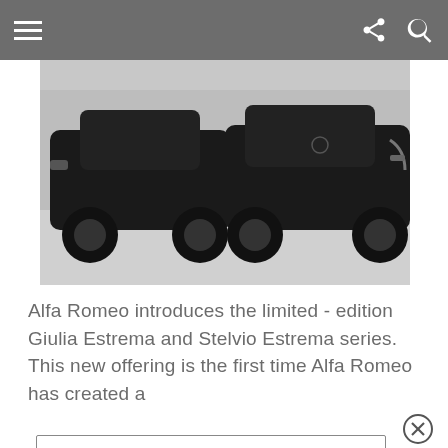Navigation bar with hamburger menu, share, and search icons
[Figure (photo): Two dark black Alfa Romeo cars (Giulia and Stelvio) parked side by side on a light-colored ground, viewed from front-quarter angle.]
Alfa Romeo introduces the limited - edition Giulia Estrema and Stelvio Estrema series. This new offering is the first time Alfa Romeo has created a
Email *
First name
Last name